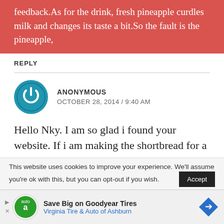feedback.As for the drink, fresh pineapple curdles milk and changes its taste a bit.So the fault is the pineapple,
REPLY
ANONYMOUS
OCTOBER 28, 2014 / 9:40 AM
Hello Nky. I am so glad i found your website. If i am making the shortbread for a party, can i make it a day in advance. Can i store it in the fridge and warm same in the oven for 5 minutes the next day? In addition, if i am making in large quantity, can i keep doubling the standard
This website uses cookies to improve your experience. We'll assume you're ok with this, but you can opt-out if you wish.
Save Big on Goodyear Tires
Virginia Tire & Auto of Ashburn